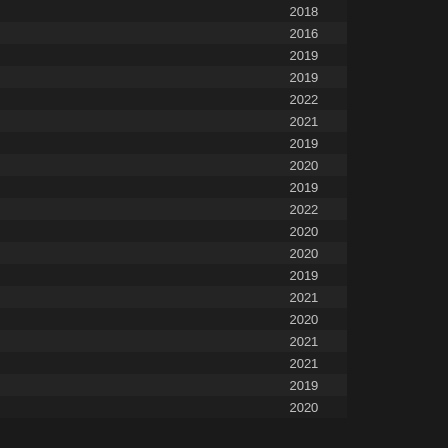|  | Year |  |
| --- | --- | --- |
|  | 2018 |  |
|  | 2016 |  |
|  | 2019 |  |
|  | 2019 |  |
|  | 2022 |  |
|  | 2021 |  |
|  | 2019 |  |
|  | 2020 |  |
|  | 2019 |  |
|  | 2022 |  |
|  | 2020 |  |
|  | 2020 |  |
|  | 2019 |  |
|  | 2021 |  |
|  | 2020 |  |
|  | 2021 |  |
|  | 2021 |  |
|  | 2019 |  |
|  | 2020 |  |